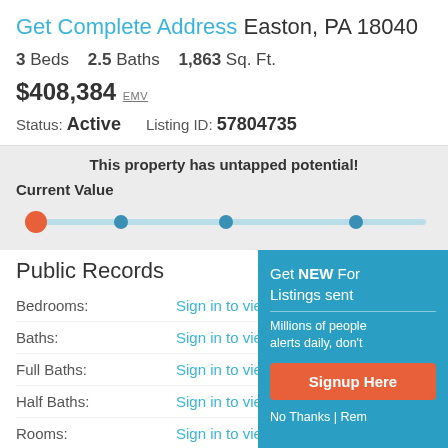Get Complete Address Easton, PA 18040
3 Beds   2.5 Baths   1,863 Sq. Ft.
$408,384 EMV
Status: Active   Listing ID: 57804735
This property has untapped potential!
Current Value
Public Records
Bedrooms: Sign in to view
Baths: Sign in to view
Full Baths: Sign in to view
Half Baths: Sign in to view
Rooms: Sign in to view
Get NEW For Listings sent
Millions of people alerts daily, don't
Signup Here
No Thanks | Rem